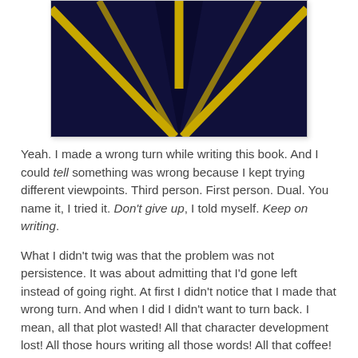[Figure (illustration): Dark navy background with yellow/gold Y-shaped road fork lines converging at center top, suggesting a road or path split viewed from above]
Yeah. I made a wrong turn while writing this book. And I could tell something was wrong because I kept trying different viewpoints. Third person. First person. Dual. You name it, I tried it. Don't give up, I told myself. Keep on writing.
What I didn't twig was that the problem was not persistence. It was about admitting that I'd gone left instead of going right. At first I didn't notice that I made that wrong turn. And when I did I didn't want to turn back. I mean, all that plot wasted! All that character development lost! All those hours writing all those words! All that coffee!
But a wrong turn is a wrong turn. You can't get away from the fact because at the end of the day (or the novel), you'll find that you've arrived at the wrong destination. You've written